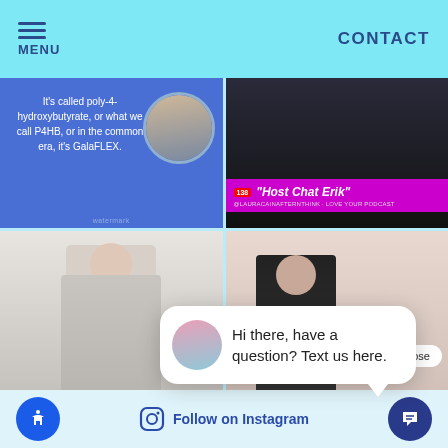MENU | CONTACT
[Figure (screenshot): Social media post with blue background showing text about poly-4-hydroxybutyrate / P4HB / GalaFLEX with a circular avatar of a person with headphones]
[Figure (screenshot): Dark background video screenshot with purple/magenta banner showing 'Host Chat Erik' text overlay]
[Figure (photo): Man in grey suit jacket smiling, opening a door]
[Figure (photo): Woman in black blazer seated, with close button overlay and play triangle]
Hi there, have a question? Text us here.
Follow on Instagram